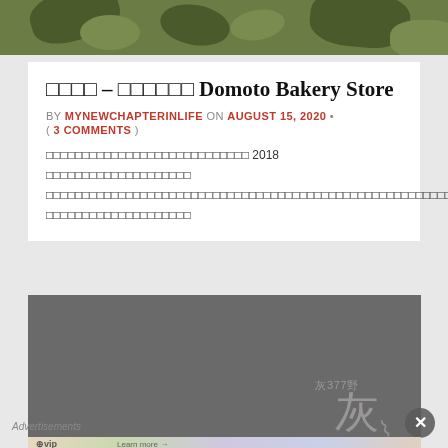[Figure (photo): Camouflage pattern banner in green and dark green tones at the top of the page]
□□□□ – □□□□□□ Domoto Bakery Store
BY MYNEWCHAPTERINLIFE ON AUGUST 15, 2020 • ( 3 COMMENTS )
□□□□□□□□□□□□□□□□□□□□□□□□□□ 2018 □□□□□□□□□□□□□□□□□□□□□□□□□□□□□□□□□□□□□□□□□□□□□□□□□□□□□□□□□□□□□□□□□□□□□□□□□□□□□□□□□□□□□□□□□□□□□□□□□□□□□□□□□□□□□□□□□□□□□□□□
[Figure (photo): Dark grey photo with a faint Chinese character watermark (灰) and small text in the lower right corner]
Advertisements
[Figure (screenshot): WordPress VIP advertisement banner with colorful cards and 'Learn more' button]